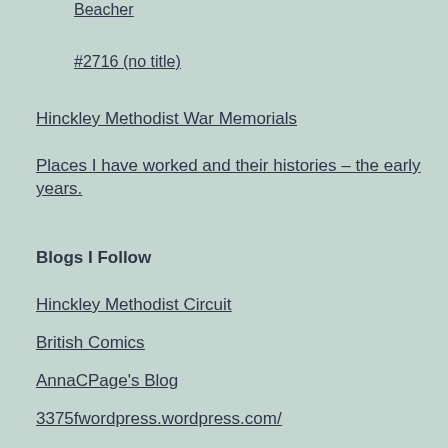Beacher
#2716 (no title)
Hinckley Methodist War Memorials
Places I have worked and their histories – the early years.
Blogs I Follow
Hinckley Methodist Circuit
British Comics
AnnaCPage's Blog
3375fwordpress.wordpress.com/
Life at Her Brightest
Mixed Cats
Thoughts of a Leicester Socialist